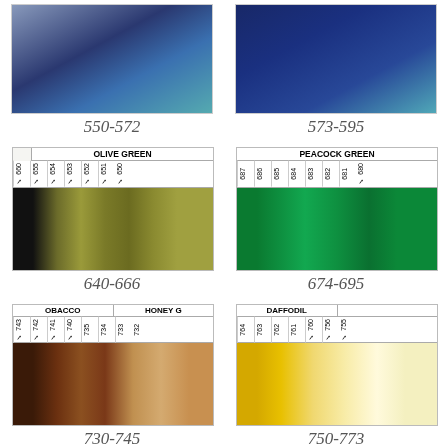[Figure (photo): Color swatch card showing blue/navy/teal yarn colors 550-572]
550-572
[Figure (photo): Color swatch card showing dark blue/teal yarn colors 573-595]
573-595
[Figure (photo): Olive Green color swatch card showing yarn shades 640-666, with codes 650,651,652,653,654,655,660]
640-666
[Figure (photo): Peacock Green color swatch card showing yarn shades 674-695, with codes 680,681,682,683,684,685,686,687]
674-695
[Figure (photo): Tobacco and Honey Green color swatch card showing yarn shades 730-745, with codes 732,733,734,735,740,741,742,743]
730-745
[Figure (photo): Daffodil color swatch card showing yarn shades 750-773, with codes 755,756,760,761,762,763,764]
750-773